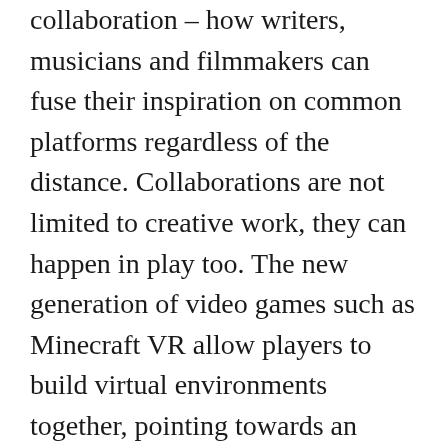collaboration – how writers, musicians and filmmakers can fuse their inspiration on common platforms regardless of the distance. Collaborations are not limited to creative work, they can happen in play too. The new generation of video games such as Minecraft VR allow players to build virtual environments together, pointing towards an entirely new level of collaboration – the co-creation of stories in digital worlds.
Presence
Today, most popular storytelling media is linear and passive. We can immerso